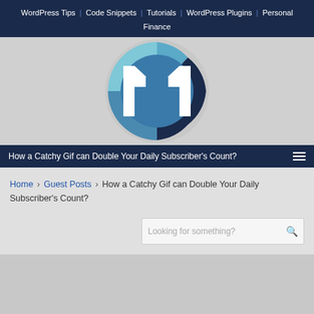WordPress Tips | Code Snippets | Tutorials | WordPress Plugins | Personal Finance
[Figure (logo): Circular logo with stylized letter M in white on blue/dark blue background, segmented circle design]
How a Catchy Gif can Double Your Daily Subscriber's Count?
Home › Guest Posts › How a Catchy Gif can Double Your Daily Subscriber's Count?
Looking for something?